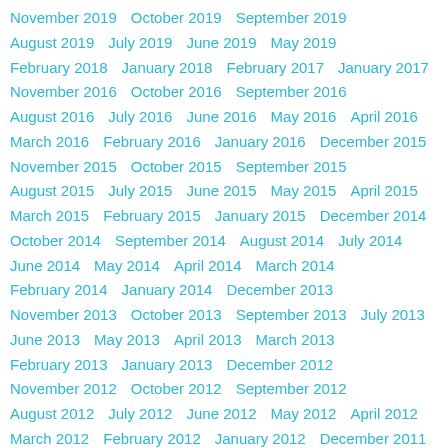November 2019
October 2019
September 2019
August 2019
July 2019
June 2019
May 2019
February 2018
January 2018
February 2017
January 2017
November 2016
October 2016
September 2016
August 2016
July 2016
June 2016
May 2016
April 2016
March 2016
February 2016
January 2016
December 2015
November 2015
October 2015
September 2015
August 2015
July 2015
June 2015
May 2015
April 2015
March 2015
February 2015
January 2015
December 2014
October 2014
September 2014
August 2014
July 2014
June 2014
May 2014
April 2014
March 2014
February 2014
January 2014
December 2013
November 2013
October 2013
September 2013
July 2013
June 2013
May 2013
April 2013
March 2013
February 2013
January 2013
December 2012
November 2012
October 2012
September 2012
August 2012
July 2012
June 2012
May 2012
April 2012
March 2012
February 2012
January 2012
December 2011